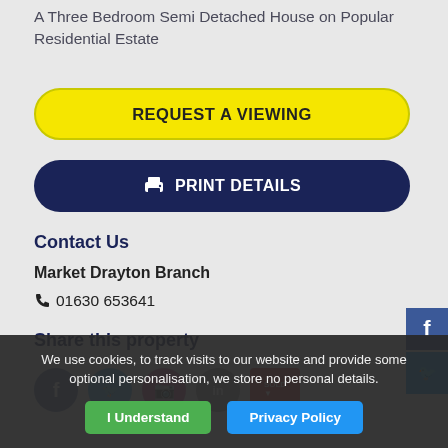A Three Bedroom Semi Detached House on Popular Residential Estate
REQUEST A VIEWING
PRINT DETAILS
Contact Us
Market Drayton Branch
01630 653641
Share this property
We use cookies, to track visits to our website and provide some optional personalisation, we store no personal details.
I Understand
Privacy Policy